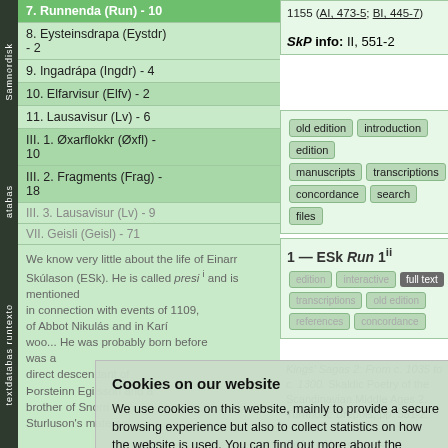7. Runnenda (Run) - 10
8. Eysteinsdrapa (Eystdr) - 2
9. Ingadrápa (Ingdr) - 4
10. Elfarvisur (Elfv) - 2
11. Lausavisur (Lv) - 6
III. 1. Øxarflokkr (Øxfl) - 10
III. 2. Fragments (Frag) - 18
III. 3. Lausavisur (Lv) - 9
VII. Geisli (Geisl) - 71
We know very little about the life of Einarr Skúlason (ESk). He is called presi and is mentioned in Morkinskinna ii, in connection with events of 1109, of various Abbot Nikulás and in Karlamagnus saga (c. early 13th century). He was probably born before 1143 (Storm 1879, p. 302). It is likely distinguishable from Bergr Sokkason to the Munkareyjar. ... was a direct descendant of Þorsteinn Egilsson and a brother of Snorri Sturluson's maternal...
1155 (AI, 473-5; BI, 445-7)
SkP info: II, 551-2
1 — ESk Run 1
edition | interactive | full text | transcriptions | old edition | references | concordance
Kings' Sagas 2: From c. 1035 to c. 1300. Skaldic Poetry of the Scandinavian Middle Ages 2. Turnhout: Brepols, pp. 551-2.
Jǫfurr fýstisk austr
ǫrlyndr ok hraustr.
Cookies on our website
We use cookies on this website, mainly to provide a secure browsing experience but also to collect statistics on how the website is used. You can find out more about the cookies we set, the information we store and how we use it on the cookies page.
Continue